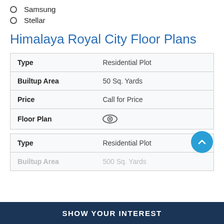Samsung
Stellar
Himalaya Royal City Floor Plans
| Type | Residential Plot |
| --- | --- |
| Builtup Area | 50 Sq. Yards |
| Price | Call for Price |
| Floor Plan | 👁 |
| Type | Residential Plot |
| --- | --- |
| Builtup Area | 500 Sq. Yards (partial) |
SHOW YOUR INTEREST